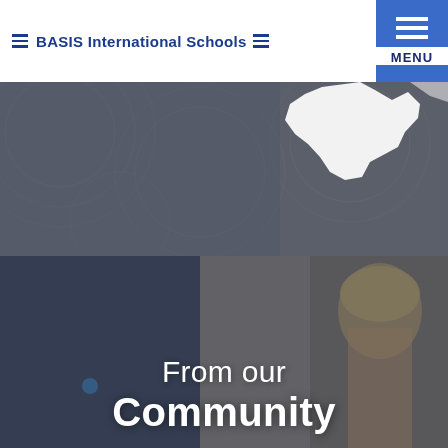≡ BASIS International Schools ≡  MENU
[Figure (map): Dark grey map background with a white silhouette of a geographic region (partially visible), textured with circular patterns]
[Figure (photo): Photo of a young woman with short blonde hair in a classroom or office setting, overlaid with dark semi-transparent tint]
From our Community